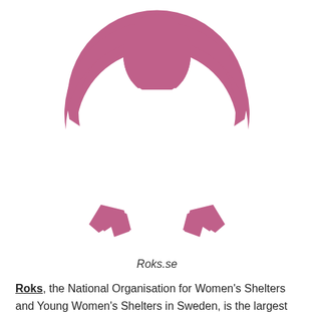[Figure (logo): Roks organization logo - a pink/mauve stylized female symbol with a circular head at top and crescent arc forming a body, with two small notched feet at the bottom]
Roks.se
Roks, the National Organisation for Women's Shelters and Young Women's Shelters in Sweden, is the largest member organization for women's